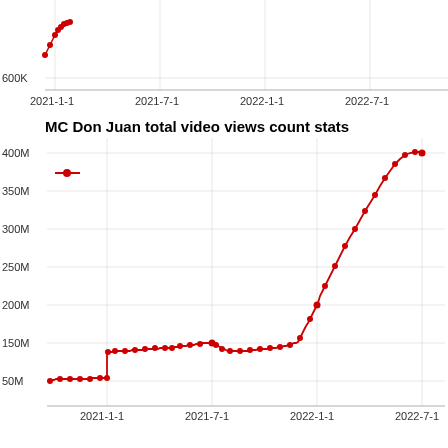[Figure (continuous-plot): Top partial chart showing a line/scatter plot of video views from approximately 600K rising to about 700K+, x-axis from 2021-1-1 to 2022-7-1, cropped at top of page]
[Figure (continuous-plot): MC Don Juan total video views count stats: scatter/line plot showing views rising from ~50M in late 2020, jumping sharply to ~125M around early 2021, gradually rising to ~155M by mid-2021, dipping to ~130M then rising to ~150M, then rising sharply to ~200M around 2022-1-1, then accelerating to ~400M by 2022-7-1. Red dots connected by red line. Y-axis: 50M to 400M in 50M increments. X-axis: 2021-1-1, 2021-7-1, 2022-1-1, 2022-7-1.]